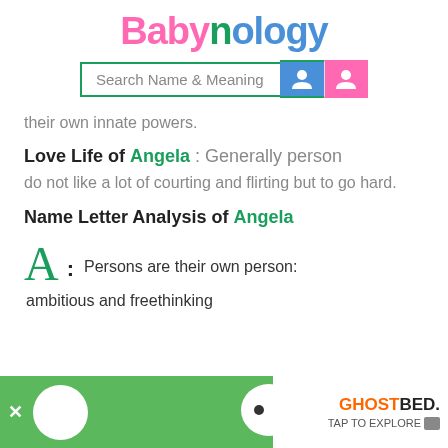Babynology
[Figure (screenshot): Search bar with text 'Search Name & Meaning' and two gender icons (blue and pink)]
their own innate powers.
Love Life of Angela : Generally person do not like a lot of courting and flirting but to go hard.
Name Letter Analysis of Angela
A : Persons are their own person: ambitious and freethinking
[Figure (screenshot): Advertisement banner at bottom: GhostBed ad with green background, ghost icon, and 'TAP TO EXPLORE' text]